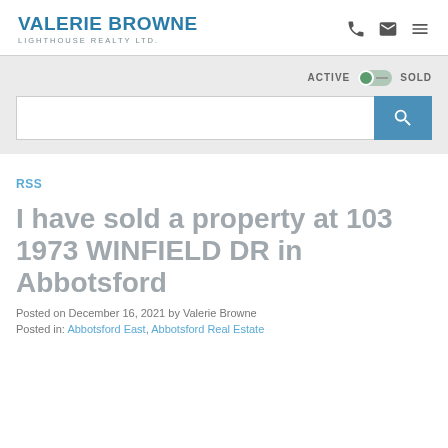VALERIE BROWNE LIGHTHOUSE REALTY LTD.
ACTIVE SOLD
RSS
I have sold a property at 103 1973 WINFIELD DR in Abbotsford
Posted on December 16, 2021 by Valerie Browne
Posted in: Abbotsford East, Abbotsford Real Estate